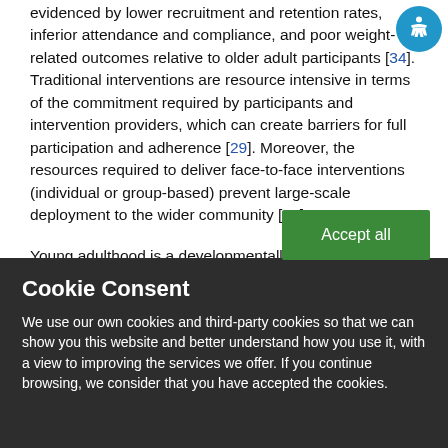evidenced by lower recruitment and retention rates, inferior attendance and compliance, and poor weight-related outcomes relative to older adult participants [34]. Traditional interventions are resource intensive in terms of the commitment required by participants and intervention providers, which can create barriers for full participation and adherence [29]. Moreover, the resources required to deliver face-to-face interventions (individual or group-based) prevent large-scale deployment to the wider community [28].
Young adulthood is a developmentally unique life stage [16]. Therefore, weight management interventions aimed at this...
Cookie Consent
We use our own cookies and third-party cookies so that we can show you this website and better understand how you use it, with a view to improving the services we offer. If you continue browsing, we consider that you have accepted the cookies.